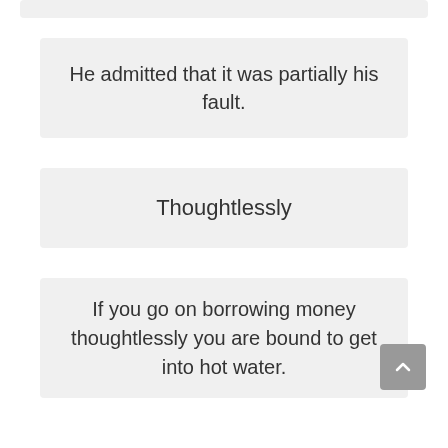He admitted that it was partially his fault.
Thoughtlessly
If you go on borrowing money thoughtlessly you are bound to get into hot water.
Inadequately
uncarefully